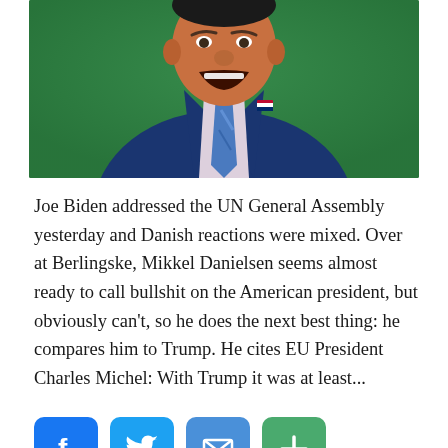[Figure (photo): Man in blue suit with American flag pin, mouth open, speaking at a podium against a green background — Joe Biden at the UN General Assembly]
Joe Biden addressed the UN General Assembly yesterday and Danish reactions were mixed. Over at Berlingske, Mikkel Danielsen seems almost ready to call bullshit on the American president, but obviously can't, so he does the next best thing: he compares him to Trump. He cites EU President Charles Michel: With Trump it was at least...
[Figure (infographic): Social sharing buttons: Facebook (blue), Twitter (blue bird), Email (envelope), Share/plus (green)]